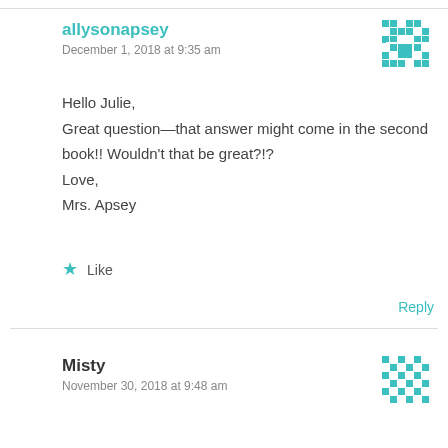allysonapsey
December 1, 2018 at 9:35 am
Hello Julie,
Great question—that answer might come in the second book!! Wouldn't that be great?!?
Love,
Mrs. Apsey
★ Like
Reply
Misty
November 30, 2018 at 9:48 am